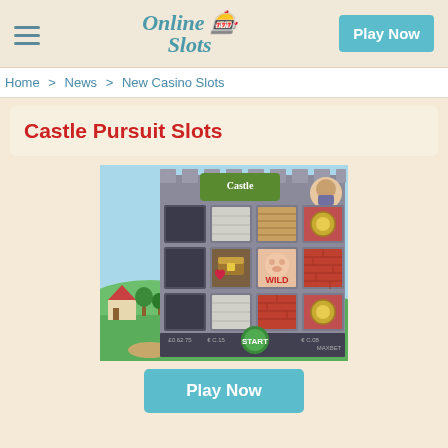Online Slots — Play Now
Home > News > New Casino Slots
Castle Pursuit Slots
[Figure (screenshot): Castle Pursuit slot game screenshot showing a 4x4 grid of slot symbols including bricks, stone, wood panels, treasure chest, WILD symbol, and a character. Start button visible at bottom center.]
Play Now